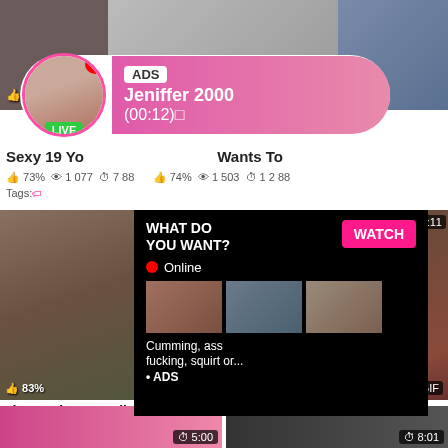[Figure (screenshot): Adult video website screenshot showing thumbnails, an ad notification bubble for 'Jeniffer 2000', and an overlay popup with 'WHAT DO YOU WANT?' and WATCH button]
ADS Jeniffer 2000 (00:12)
Sexy 19 Yo ... Wants To
73% / 1 077 / 7 88
74% / 1 503 / 1 2 88
Tags:
WHAT DO YOU WANT?
WATCH
Online
Cumming, ass fucking, squirt or...
• ADS
The Denim Overalls With No Top
83% / 1 031 / 5:01
Tags: sexy outdoor ass
Pretty Brunette Girl Rides Up Fat
87% / 2 979 / 5:11
Tags: cocksucking home